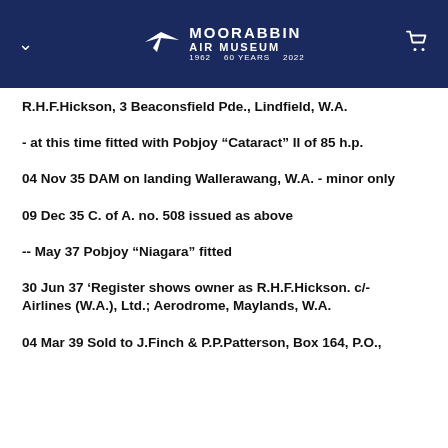Moorabbin Air Museum 60 Years
R.H.F.Hickson, 3 Beaconsfield Pde., Lindfield, W.A.
- at this time fitted with Pobjoy “Cataract” II of 85 h.p.
04 Nov 35 DAM on landing Wallerawang, W.A. - minor only
09 Dec 35 C. of A. no. 508 issued as above
-- May 37 Pobjoy “Niagara” fitted
30 Jun 37 ‘Register shows owner as R.H.F.Hickson. c/- Airlines (W.A.), Ltd.; Aerodrome, Maylands, W.A.
04 Mar 39 Sold to J.Finch & P.P.Patterson, Box 164, P.O.,